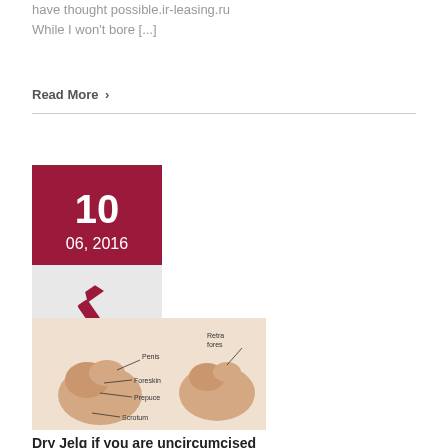have thought possible.ir-leasing.ru
While I won't bore [...]
Read More >
[Figure (illustration): Date block showing 10, 06, 2016 on dark red/maroon background, with a pen icon below on grey background, and a medical anatomy illustration of male anatomy with labels: Penis, Foreskin, Prepuce, Scrotum on left side, and Retracted foreskin label on right side]
Dry Jelq if you are uncircumcised